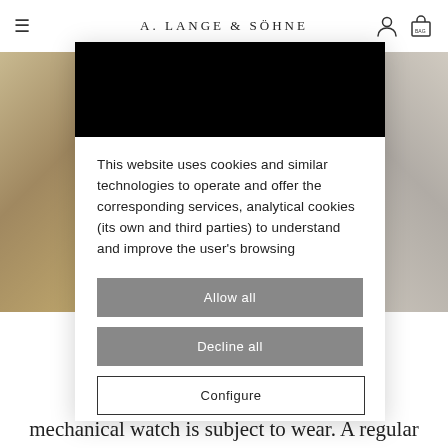A. LANGE & SÖHNE
This website uses cookies and similar technologies to operate and offer the corresponding services, analytical cookies (its own and third parties) to understand and improve the user’s browsing
Allow all
Decline all
Configure
De… all indi… vith resi… very mechanical watch is subject to wear. A regular